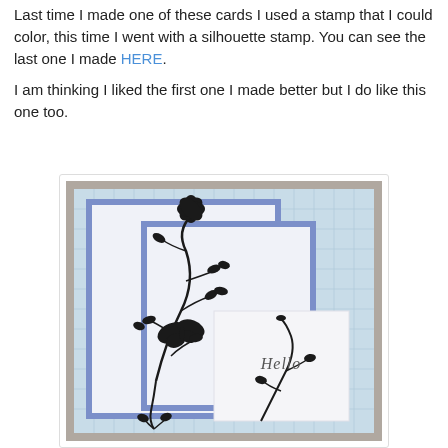Last time I made one of these cards I used a stamp that I could color, this time I went with a silhouette stamp.  You can see the last one I made HERE.
I am thinking I liked the first one I made better but I do like this one too.
[Figure (photo): A handmade greeting card featuring layered blue and white panels with a black silhouette floral and butterfly stamp design. A small white panel in the lower right reads 'Hello' in script. The background paper has a light blue grid/tile pattern.]